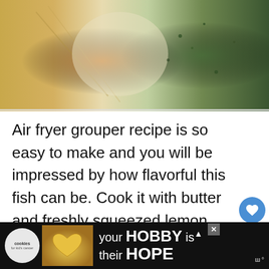[Figure (photo): Close-up photo of cooked grouper fish with herbs and sauce, showing golden-brown crust with green herbs and orange sauce]
Air fryer grouper recipe is so easy to make and you will be impressed by how flavorful this fish can be. Cook it with butter and freshly squeezed lemon juice, the dinner is ready in less than 20 minutes! Grouper is such an amazing fish! Its available year around in United States and most of...
[Figure (advertisement): Advertisement banner for 'cookies for kid's cancer' with text 'your HOBBY is their HOPE' on dark background with heart-shaped cookie image]